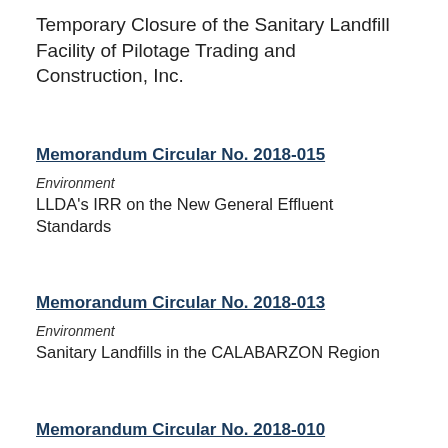Temporary Closure of the Sanitary Landfill Facility of Pilotage Trading and Construction, Inc.
Memorandum Circular No. 2018-015
Environment
LLDA's IRR on the New General Effluent Standards
Memorandum Circular No. 2018-013
Environment
Sanitary Landfills in the CALABARZON Region
Memorandum Circular No. 2018-010
Gender and Development